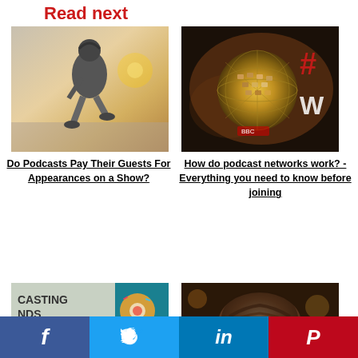Read next
[Figure (photo): Person walking on street with headphones, side profile, wearing coat]
Do Podcasts Pay Their Guests For Appearances on a Show?
[Figure (photo): Disco mirror ball with faces and hashtag # symbol in background]
How do podcast networks work? - Everything you need to know before joining
[Figure (photo): Text saying CASTING NDS CHANGING? with colorful donuts]
[Figure (photo): Close-up of person's head/hair from above]
f  Twitter bird  in  P